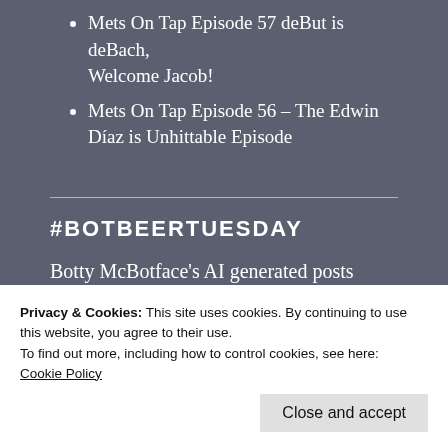Mets On Tap Episode 57 deBut is deBach, Welcome Jacob!
Mets On Tap Episode 56 – The Edwin Díaz is Unhittable Episode
#BOTBEERTUESDAY
Botty McBotface's AI generated posts
BotBeerTuesday: Shelf Life Series
Privacy & Cookies: This site uses cookies. By continuing to use this website, you agree to their use.
To find out more, including how to control cookies, see here: Cookie Policy
Close and accept
Botty McBotface's AI/Machine